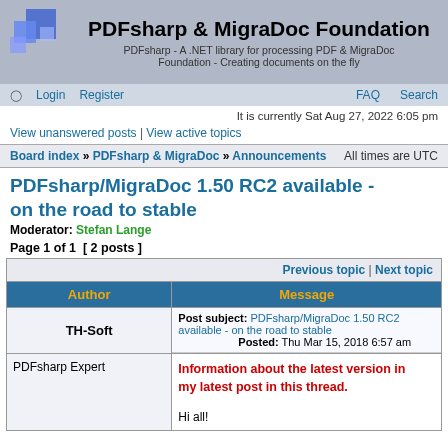PDFsharp & MigraDoc Foundation — PDFsharp - A .NET library for processing PDF & MigraDoc Foundation - Creating documents on the fly
Login | Register | FAQ | Search
It is currently Sat Aug 27, 2022 6:05 pm
View unanswered posts | View active topics
Board index » PDFsharp & MigraDoc » Announcements  All times are UTC
PDFsharp/MigraDoc 1.50 RC2 available - on the road to stable
Moderator: Stefan Lange
Page 1 of 1  [ 2 posts ]
| Author | Message |
| --- | --- |
| TH-Soft | Post subject: PDFsharp/MigraDoc 1.50 RC2 available - on the road to stable
Posted: Thu Mar 15, 2018 6:57 am |
| PDFsharp Expert | Information about the latest version in my latest post in this thread.

Hi all! |